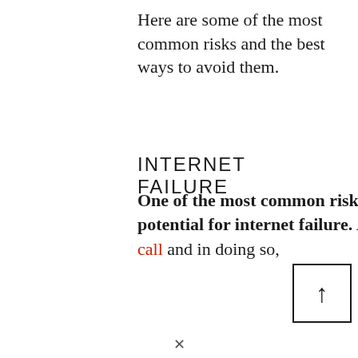Here are some of the most common risks and the best ways to avoid them.
INTERNET FAILURE
One of the most common risks when filming a remote video deposition is the potential for internet failure. A failed internet connection will cancel the video call and in doing so,